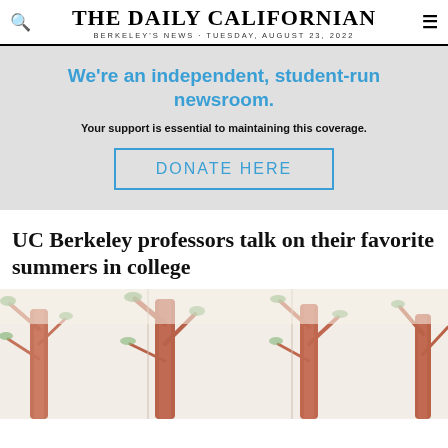THE DAILY CALIFORNIAN
BERKELEY'S NEWS · TUESDAY, AUGUST 23, 2022
We're an independent, student-run newsroom.
Your support is essential to maintaining this coverage.
DONATE HERE
UC Berkeley professors talk on their favorite summers in college
[Figure (illustration): Decorative illustration showing stylized trees with warm reddish-brown trunks and green foliage against a light background, used as article header image]